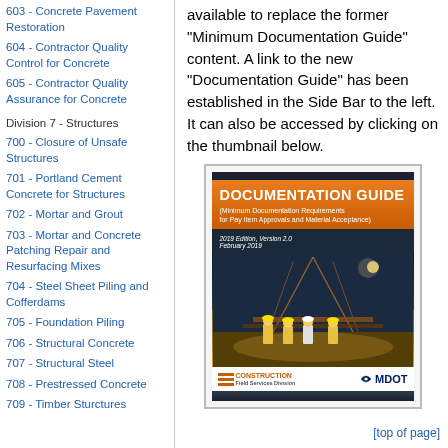603 - Concrete Pavement Restoration
604 - Contractor Quality Control for Concrete
605 - Contractor Quality Assurance for Concrete
Division 7 - Structures
700 - Closure of Unsafe Structures
701 - Portland Cement Concrete for Structures
702 - Mortar and Grout
703 - Mortar and Concrete Patching Repair and Resurfacing Mixes
704 - Steel Sheet Piling and Cofferdams
705 - Foundation Piling
706 - Structural Concrete
707 - Structural Steel
708 - Prestressed Concrete
709 - Timber Sturctures
available to replace the former "Minimum Documentation Guide" content. A link to the new "Documentation Guide" has been established in the Side Bar to the left. It can also be accessed by clicking on the thumbnail below.
[Figure (photo): Cover image of the MDOT Documentation Guide booklet showing construction workers on a bridge at night, with orange banner title 'DOCUMENTATION GUIDE (Minimum Documentation Requirements for Pay Item Approvals and Material Acceptance)', 2019 Edition Version 2.0, February 2019, published by MDOT Construction Field Services Division.]
[top of page]